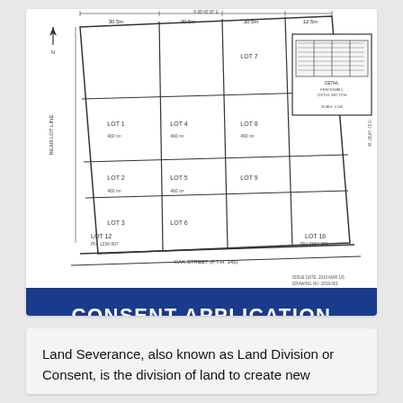[Figure (engineering-diagram): Land survey/subdivision plan showing multiple lots with dimensions, bearings, and annotations. Includes a small detail inset in the upper right showing what appears to be a fence or wall cross-section detail.]
CONSENT APPLICATION
Land Severance, also known as Land Division or Consent, is the division of land to create new